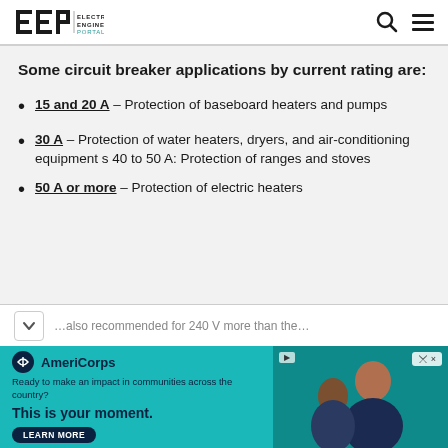EEP | Electrical Engineering Portal
Some circuit breaker applications by current rating are:
15 and 20 A – Protection of baseboard heaters and pumps
30 A – Protection of water heaters, dryers, and air-conditioning equipment s 40 to 50 A: Protection of ranges and stoves
50 A or more – Protection of electric heaters
…also recommended for 240 V…
[Figure (other): AmeriCorps advertisement banner: 'Ready to make an impact in communities across the country? This is your moment. LEARN MORE']